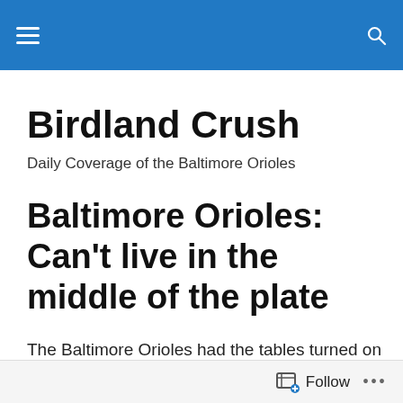Birdland Crush — navigation bar
Birdland Crush
Daily Coverage of the Baltimore Orioles
Baltimore Orioles: Can't live in the middle of the plate
The Baltimore Orioles had the tables turned on them a bit tonight as they fell in blowout fashion to the New York Mets. Orioles' starter (and former Met) Matt Harvey was ineffective once again as he pitched against his former team. But New York was on a mission tonight, and nothing
Follow ...